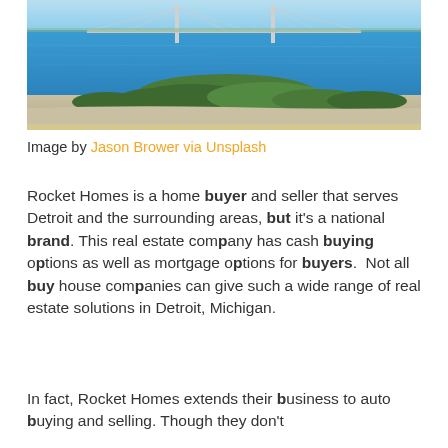[Figure (photo): Photograph of a large suspension bridge over blue water with a sandy shoreline and green vegetation in the foreground. Likely the Mackinac Bridge in Michigan.]
Image by Jason Brower via Unsplash
Rocket Homes is a home buyer and seller that serves Detroit and the surrounding areas, but it's a national brand. This real estate company has cash buying options as well as mortgage options for buyers.  Not all buy house companies can give such a wide range of real estate solutions in Detroit, Michigan.
In fact, Rocket Homes extends their business to auto buying and selling. Though they don't